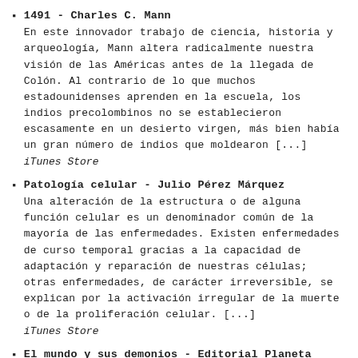1491 - Charles C. Mann
En este innovador trabajo de ciencia, historia y arqueología, Mann altera radicalmente nuestra visión de las Américas antes de la llegada de Colón. Al contrario de lo que muchos estadounidenses aprenden en la escuela, los indios precolombinos no se establecieron escasamente en un desierto virgen, más bien había un gran número de indios que moldearon [...]
iTunes Store
Patología celular - Julio Pérez Márquez
Una alteración de la estructura o de alguna función celular es un denominador común de la mayoría de las enfermedades. Existen enfermedades de curso temporal gracias a la capacidad de adaptación y reparación de nuestras células; otras enfermedades, de carácter irreversible, se explican por la activación irregular de la muerte o de la proliferación celular. [...]
iTunes Store
El mundo y sus demonios - Editorial Planeta S.A.U.
¿Estamos al borde de una nueva edad oscura de irracionalismo y superstición? En este libro conmovedor, el incomparable Carl Sagan demuestra con brillantez que el pensamiento científico es necesario para salvaguardar nuestras instituciones democráticas y nuestra civilización técnica. El mundo y sus demonios es el libro más personal